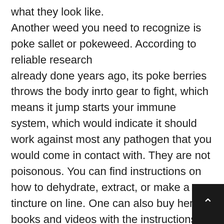what they look like. Another weed you need to recognize is poke sallet or pokeweed. According to reliable research already done years ago, its poke berries throws the body inrto gear to fight, which means it jump starts your immune system, which would indicate it should work against most any pathogen that you would come in contact with. They are not poisonous. You can find instructions on how to dehydrate, extract, or make a tincture on line. One can also buy herbal books and videos with the instructions on the how tos and it doesn't take a Mensa level IQ to do – only a willingness to